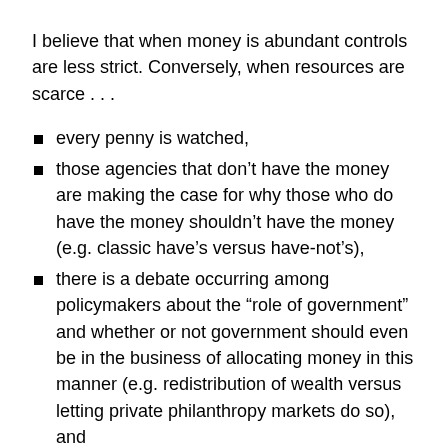I believe that when money is abundant controls are less strict. Conversely, when resources are scarce . . .
every penny is watched,
those agencies that don't have the money are making the case for why those who do have the money shouldn't have the money (e.g. classic have's versus have-not's),
there is a debate occurring among policymakers about the “role of government” and whether or not government should even be in the business of allocating money in this manner (e.g. redistribution of wealth versus letting private philanthropy markets do so), and
decision-makers are looking for reasons to take money away because it is easier to tell voters that funding was